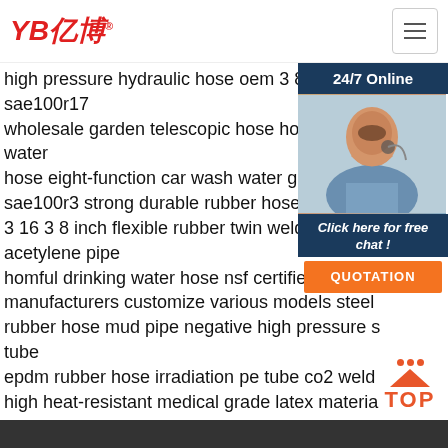YB亿博® (logo) with hamburger menu
high pressure hydraulic hose oem 3 8 dn 10mm sae100r17
wholesale garden telescopic hose household magic water
hose eight-function car wash water gun set
sae100r3 strong durable rubber hose rubber ho
3 16 3 8 inch flexible rubber twin welding hose
acetylene pipe
homful drinking water hose nsf certified rv drink
manufacturers customize various models steel
rubber hose mud pipe negative high pressure s
tube
epdm rubber hose irradiation pe tube co2 weld
high heat-resistant medical grade latex materia
zhongtong rubber dayflex hose
presses rubber hoses aulic presses rubber hos
hydraulic hoses
manufacrtured durable hydraulic gasoline resistant rubber hose
[Figure (infographic): 24/7 Online chat widget with customer service representative photo, 'Click here for free chat!' text, and orange QUOTATION button]
[Figure (other): Orange TOP button with dots above it]